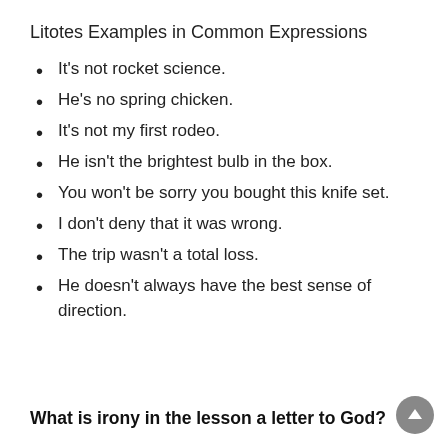Litotes Examples in Common Expressions
It's not rocket science.
He's no spring chicken.
It's not my first rodeo.
He isn't the brightest bulb in the box.
You won't be sorry you bought this knife set.
I don't deny that it was wrong.
The trip wasn't a total loss.
He doesn't always have the best sense of direction.
What is irony in the lesson a letter to God?